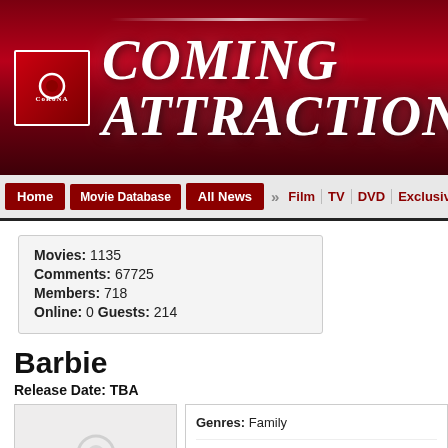[Figure (logo): Corona Coming Attractions website header banner with red gradient background, Corona logo box on left and 'COMING ATTRACTIONS' text in white italic serif font]
Home | Movie Database | All News | » Film | TV | DVD | Exclusive
Movies: 1135
Comments: 67725
Members: 718
Online: 0 Guests: 214
Barbie
Release Date: TBA
[Figure (photo): Poster Not Yet Released placeholder with Corona logo watermark]
Genres: Family
Production Phase: Pitch
Studio: Universal Pictures
Who's Making It: Laurence Mark (Producer), Mattel